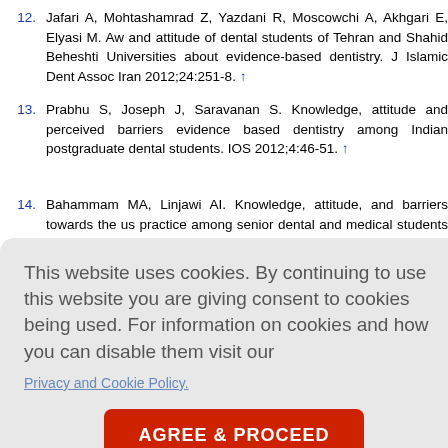12. Jafari A, Mohtashamrad Z, Yazdani R, Moscowchi A, Akhgari E, Elyasi M. Aw and attitude of dental students of Tehran and Shahid Beheshti Universities about evidence-based dentistry. J Islamic Dent Assoc Iran 2012;24:251-8. ↑
13. Prabhu S, Joseph J, Saravanan S. Knowledge, attitude and perceived barriers evidence based dentistry among Indian postgraduate dental students. IOS 2012;4:46-51. ↑
14. Bahammam MA, Linjawi AI. Knowledge, attitude, and barriers towards the us practice among senior dental and medical students in western Saudi Ar 2014;35:1250-6. ↑
, and pra sity of medi
sed medical .
and practice n Assoc P
EJ, Kravi and clinical
Pract 2008;14:707-13. ↑
This website uses cookies. By continuing to use this website you are giving consent to cookies being used. For information on cookies and how you can disable them visit our Privacy and Cookie Policy. AGREE & PROCEED